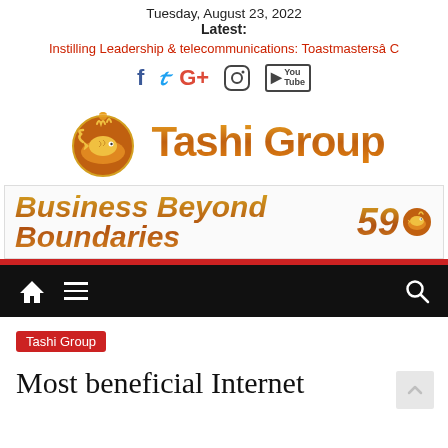Tuesday, August 23, 2022
Latest:
Instilling Leadership & telecommunications: Toastmastersâ C
[Figure (logo): Social media icons: Facebook, Twitter, Google+, Instagram, YouTube]
[Figure (logo): Tashi Group logo with golden fish emblem and orange gradient text reading 'Tashi Group']
[Figure (logo): Banner reading 'Business Beyond Boundaries 59' in orange gradient bold italic text]
Navigation bar with home icon, menu icon, and search icon
Tashi Group
Most beneficial Internet